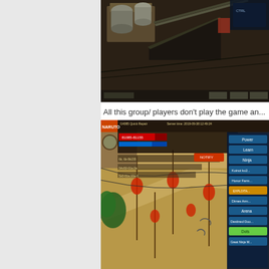[Figure (screenshot): Screenshot of an online game showing an isometric view of a building/rooftop area with dark atmosphere, game UI elements at the bottom]
All this group/ players don't play the game an...
[Figure (screenshot): Screenshot of a Naruto online game showing a character in a town area with lanterns, game UI panels on the right side showing options like Power, Learn, Ninja, Koinot ku2, Honor Farm, etc. Server time shown as 2019-09-38 12:49:24, showing 'G4085 Quick Repair' at top]